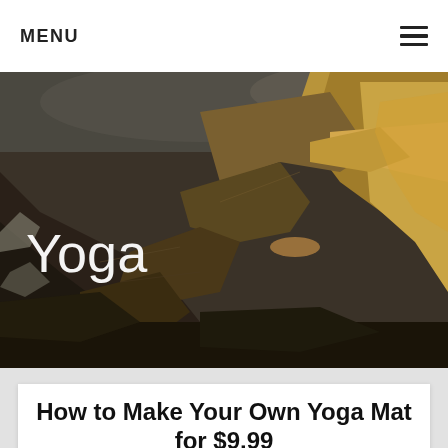MENU
[Figure (photo): Aerial view of a deep canyon with layered red and brown rock formations, sunlit cliffs and a river visible in the distance. The word 'Yoga' appears in white text overlaid on the lower-left of the image.]
How to Make Your Own Yoga Mat for $9.99